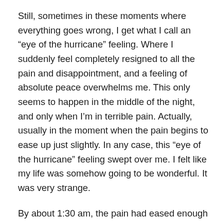Still, sometimes in these moments where everything goes wrong, I get what I call an “eye of the hurricane” feeling. Where I suddenly feel completely resigned to all the pain and disappointment, and a feeling of absolute peace overwhelms me. This only seems to happen in the middle of the night, and only when I’m in terrible pain. Actually, usually in the moment when the pain begins to ease up just slightly. In any case, this “eye of the hurricane” feeling swept over me. I felt like my life was somehow going to be wonderful. It was very strange.
By about 1:30 am, the pain had eased enough that I found myself sleeping for short stretches before the pain jolted me awake again. At 5 am, Steven sent me a text saying his visa had not come through.
Unfortunately, by this point my “eye of the hurricane”